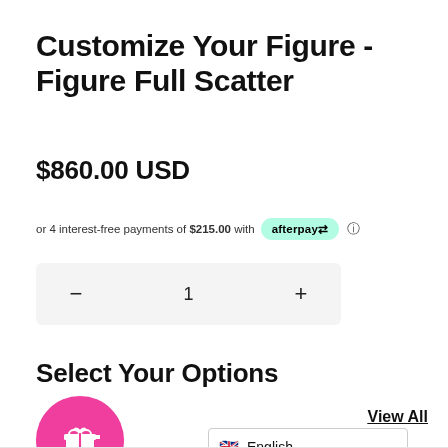Customize Your Figure - Figure Full Scatter
$860.00 USD
or 4 interest-free payments of $215.00 with afterpay
1
Select Your Options
View All
English